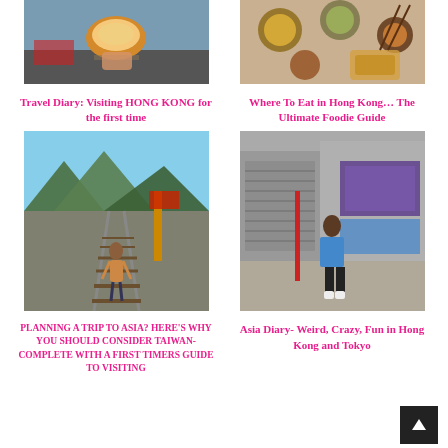[Figure (photo): Photo of a hand holding an egg tart with a city street in the background]
Travel Diary: Visiting HONG KONG for the first time
[Figure (photo): Overhead photo of dim sum dishes on a table]
Where To Eat in Hong Kong… The Ultimate Foodie Guide
[Figure (photo): Woman walking on railway tracks with mountains in the background, Taiwan]
PLANNING A TRIP TO ASIA? HERE'S WHY YOU SHOULD CONSIDER TAIWAN- COMPLETE WITH A FIRST TIMERS GUIDE TO VISITING
[Figure (photo): Woman standing on a street in Hong Kong with graffiti and storefronts behind her]
Asia Diary- Weird, Crazy, Fun in Hong Kong and Tokyo